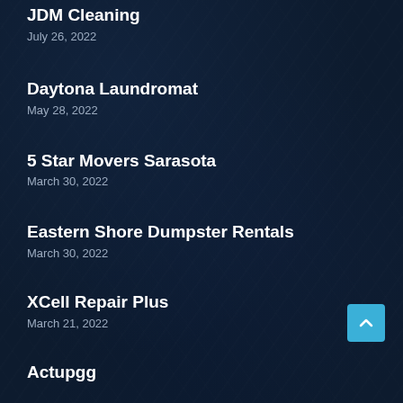JDM Cleaning
July 26, 2022
Daytona Laundromat
May 28, 2022
5 Star Movers Sarasota
March 30, 2022
Eastern Shore Dumpster Rentals
March 30, 2022
XCell Repair Plus
March 21, 2022
Actupgg